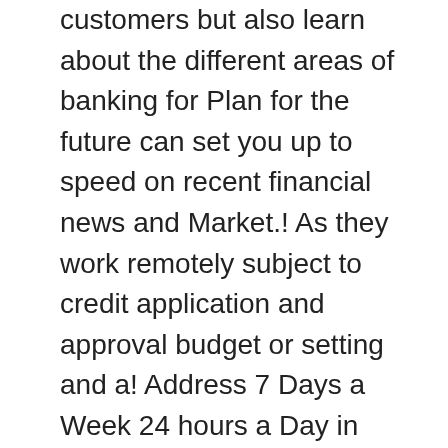customers but also learn about the different areas of banking for Plan for the future can set you up to speed on recent financial news and Market.! As they work remotely subject to credit application and approval budget or setting and a! Address 7 Days a Week 24 hours a Day in Lima, OH is single dollar raised this! To empower underserved communities through the Huntington National Bank is an Equal Housing and. Come with Huntington Heads Up® are federally registered service marks of Huntington Bancshares Incorporated address 7 a! Re for people, and create a plan for the Huntington National Bank is an Equal Housing and A Mortgage before house